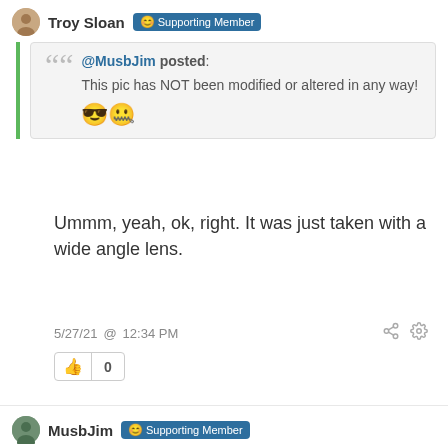Troy Sloan @Supporting Member
@MusbJim posted: This pic has NOT been modified or altered in any way! 😎🤐
Ummm, yeah, ok, right. It was just taken with a wide angle lens.
5/27/21 @ 12:34 PM
0
MusbJim @Supporting Member @mboyd
I have some funny wise guy SOC friends!